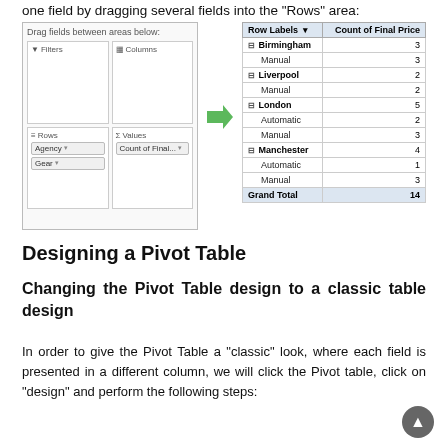one field by dragging several fields into the “Rows” area:
[Figure (screenshot): Screenshot showing Excel PivotTable field list panel on the left with Agency and Gear in Rows, Count of Final Price in Values, and a pivot table on the right showing counts by city (Birmingham 3, Liverpool 2, London 5, Manchester 4, Grand Total 14).]
Designing a Pivot Table
Changing the Pivot Table design to a classic table design
In order to give the Pivot Table a “classic” look, where each field is presented in a different column, we will click the Pivot table, click on “design” and perform the following steps: